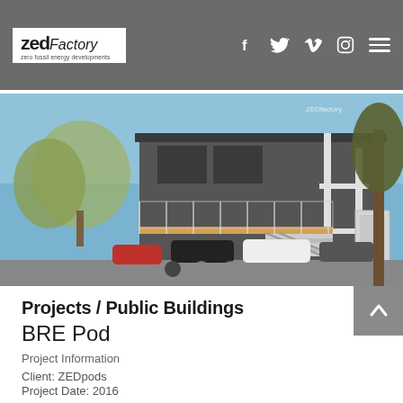zed Factory — zero fossil energy developments — navigation icons: f, twitter, vimeo, instagram, menu
[Figure (photo): Exterior photo of BRE Pod building — a modern two-storey modular building with metal staircase, balconies with glass railings, and a lift/elevator shaft. Cars parked in front. Blue sky. Trees visible.]
Projects / Public Buildings
BRE Pod
Project Information
Client: ZEDpods
Project Date: 2016